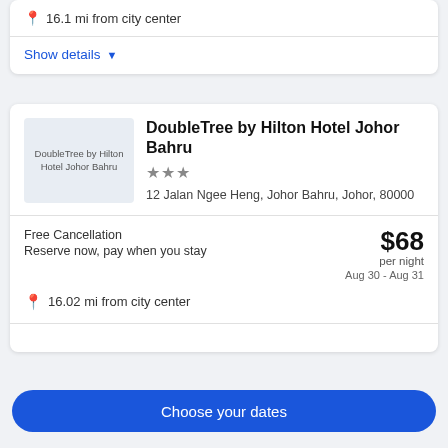16.1 mi from city center
Show details
DoubleTree by Hilton Hotel Johor Bahru
★★★
12 Jalan Ngee Heng, Johor Bahru, Johor, 80000
Free Cancellation
Reserve now, pay when you stay
$68 per night
Aug 30 - Aug 31
16.02 mi from city center
Choose your dates